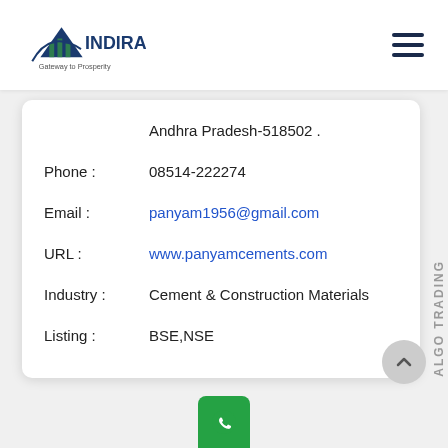[Figure (logo): Indira Securities logo with text 'Gateway to Prosperity']
|  | Andhra Pradesh-518502 . |
| Phone : | 08514-222274 |
| Email : | panyam1956@gmail.com |
| URL : | www.panyamcements.com |
| Industry : | Cement & Construction Materials |
| Listing : | BSE,NSE |
ALGO TRADING
[Figure (other): WhatsApp icon button at bottom center]